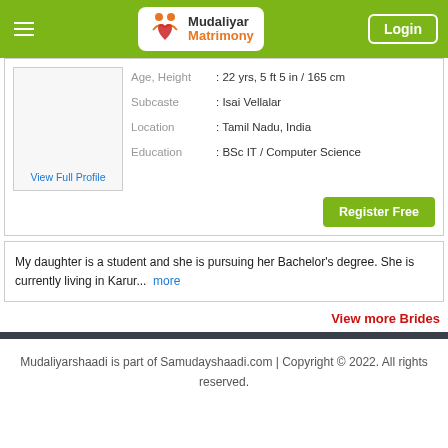Mudaliyar Matrimony | Login
| Field | Value |
| --- | --- |
| Age, Height | : 22 yrs, 5 ft 5 in / 165 cm |
| Subcaste | : Isai Vellalar |
| Location | : Tamil Nadu, India |
| Education | : BSc IT / Computer Science |
My daughter is a student and she is pursuing her Bachelor's degree. She is currently living in Karur... more
View more Brides
Mudaliyarshaadi is part of Samudayshaadi.com | Copyright © 2022. All rights reserved.